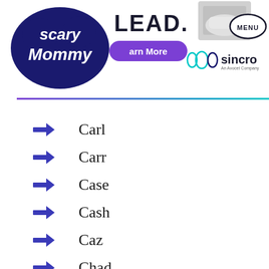[Figure (screenshot): Scary Mommy website header banner featuring the Scary Mommy logo on the left, 'LEAD.' text, a 'Learn More' purple pill button, a car image thumbnail, Sincro logo (An Avocet Company), and a MENU button in an oval outline. A gradient line (purple to teal) runs below the banner.]
Carl
Carr
Case
Cash
Caz
Chad
Chance
Cha...